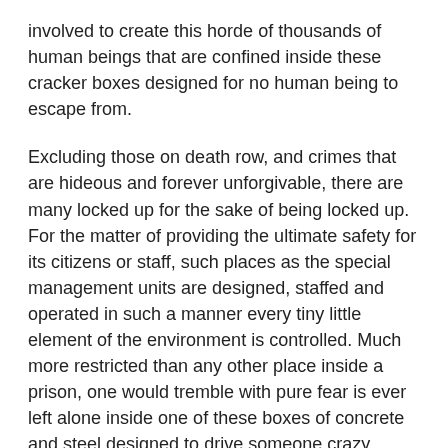involved to create this horde of thousands of human beings that are confined inside these cracker boxes designed for no human being to escape from.
Excluding those on death row, and crimes that are hideous and forever unforgivable, there are many locked up for the sake of being locked up. For the matter of providing the ultimate safety for its citizens or staff, such places as the special management units are designed, staffed and operated in such a manner every tiny little element of the environment is controlled. Much more restricted than any other place inside a prison, one would tremble with pure fear is ever left alone inside one of these boxes of concrete and steel designed to drive someone crazy through the use of the SID methods readily available to anyone who chooses to use them.
None of the pods are soundproof thus every whimper, every cry and every shout can be heard by all those that live inside. Every sound triggers a response from someone down the tier and whether friend or foe, the result is a mixture of shouts and chants that compete to be heard by its intended